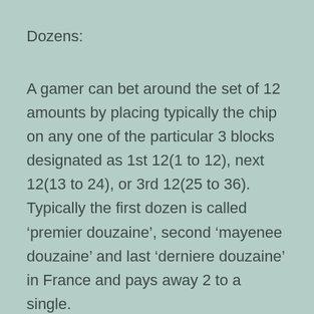Dozens:
A gamer can bet around the set of 12 amounts by placing typically the chip on any one of the particular 3 blocks designated as 1st 12(1 to 12), next 12(13 to 24), or 3rd 12(25 to 36). Typically the first dozen is called ‘premier douzaine’, second ‘mayenee douzaine’ and last ‘derniere douzaine’ in France and pays away 2 to a single.